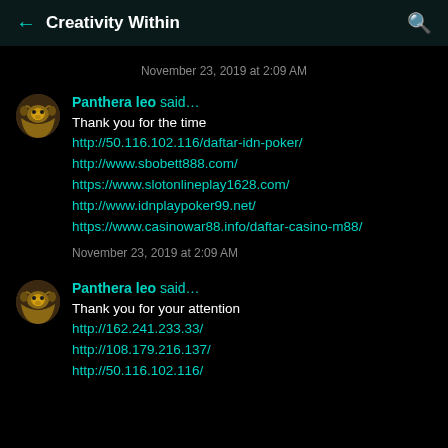← Creativity Within 🔍
November 23, 2019 at 2:09 AM
Panthera leo said…
Thank you for the time
http://50.116.102.116/daftar-idn-poker/
http://www.sbobett888.com/
https://www.slotonlineplay1628.com/
http://www.idnplaypoker99.net/
https://www.casinowar88.info/daftar-casino-m88/
November 23, 2019 at 2:09 AM
Panthera leo said…
Thank you for your attention
http://162.241.233.33/
http://108.179.216.137/
http://50.116.102.116/